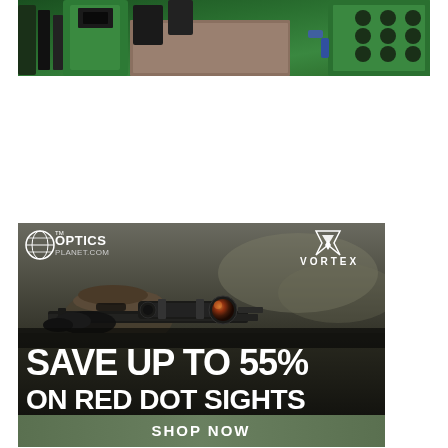[Figure (photo): Top portion of a photo showing green reloading/ammunition equipment and tools on a workbench, partially cropped]
[Figure (photo): OpticsPlanet.com advertisement banner featuring a person aiming a rifle with a Vortex optic/red dot sight mounted. Text reads 'SAVE UP TO 55% ON RED DOT SIGHTS' with 'SHOP NOW' button at bottom. OpticsPlanet and Vortex logos visible at top.]